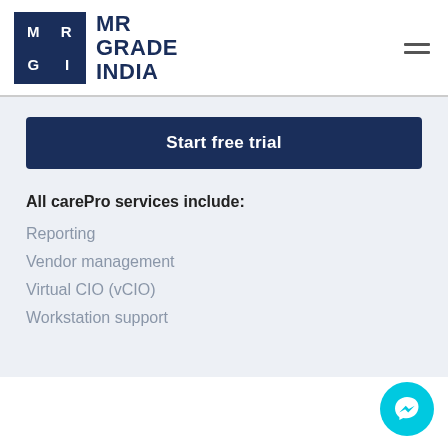[Figure (logo): MR Grade India logo: dark navy square with MR/GI letters in grid, beside bold navy text MR GRADE INDIA]
Start free trial
All carePro services include:
Reporting
Vendor management
Virtual CIO (vCIO)
Workstation support
[Figure (illustration): Cyan circular chat/messenger button with lightning bolt icon, bottom-right corner]